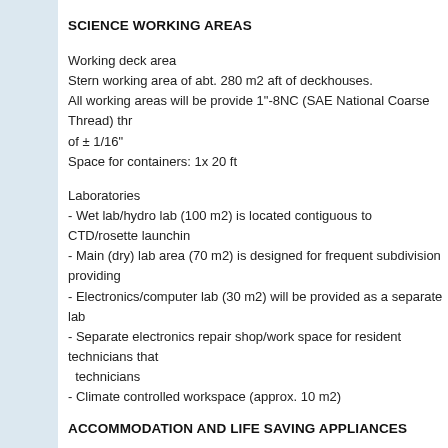SCIENCE WORKING AREAS
Working deck area
Stern working area of abt. 280 m2 aft of deckhouses.
All working areas will be provide 1"-8NC (SAE National Coarse Thread) thr of ± 1/16"
Space for containers: 1x 20 ft
Laboratories
- Wet lab/hydro lab (100 m2) is located contiguous to CTD/rosette launchin
- Main (dry) lab area (70 m2) is designed for frequent subdivision providing
- Electronics/computer lab (30 m2) will be provided as a separate lab
- Separate electronics repair shop/work space for resident technicians that technicians
- Climate controlled workspace (approx. 10 m2)
ACCOMMODATION AND LIFE SAVING APPLIANCES
Lifesaving appliances
- One (1) rescue / working boat with inboard engine, water jet driven, for 12
- One (1) rescue boat with davits
- Four (4) inflatable liferafts for 25 persons each, with one davit, to SOLAS